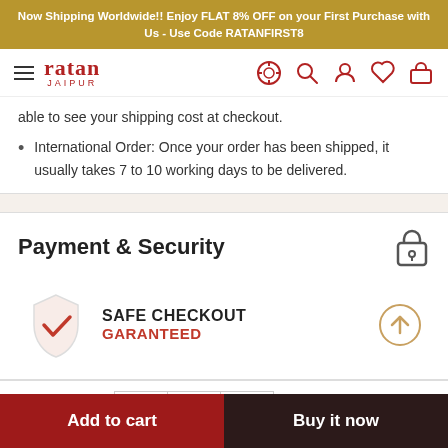Now Shipping Worldwide!! Enjoy FLAT 8% OFF on your First Purchase with Us - Use Code RATANFIRST8
[Figure (logo): Ratan Jaipur brand logo with hamburger menu and navigation icons]
able to see your shipping cost at checkout.
International Order: Once your order has been shipped, it usually takes 7 to 10 working days to be delivered.
Payment & Security
SAFE CHECKOUT GARANTEED
Quantity: 1